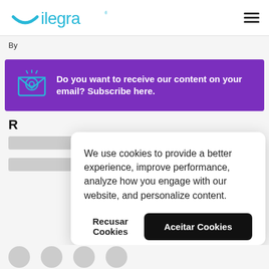ilegra
By
[Figure (infographic): Purple subscription banner with email envelope icon and text: Do you want to receive our content on your email? Subscribe here.]
R
We use cookies to provide a better experience, improve performance, analyze how you engage with our website, and personalize content.
Recusar Cookies
Aceitar Cookies